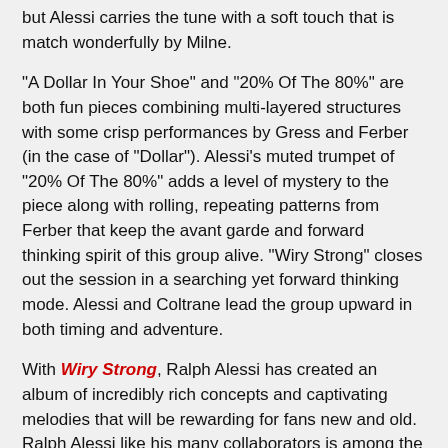but Alessi carries the tune with a soft touch that is match wonderfully by Milne.
"A Dollar In Your Shoe" and "20% Of The 80%" are both fun pieces combining multi-layered structures with some crisp performances by Gress and Ferber (in the case of "Dollar"). Alessi's muted trumpet of "20% Of The 80%" adds a level of mystery to the piece along with rolling, repeating patterns from Ferber that keep the avant garde and forward thinking spirit of this group alive. "Wiry Strong" closes out the session in a searching yet forward thinking mode. Alessi and Coltrane lead the group upward in both timing and adventure.
With Wiry Strong, Ralph Alessi has created an album of incredibly rich concepts and captivating melodies that will be rewarding for fans new and old. Ralph Alessi like his many collaborators is among the rare group of musicians who are continuing to push jazz forward and beyond its traditional definitions. Highly Recommended.